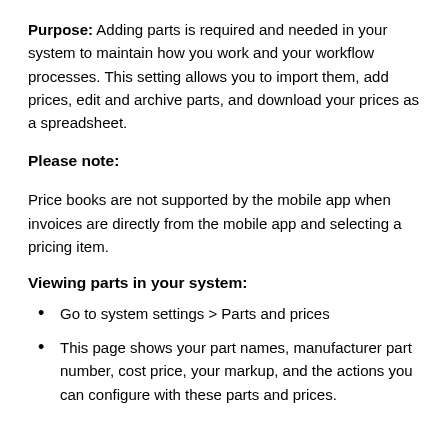Purpose: Adding parts is required and needed in your system to maintain how you work and your workflow processes. This setting allows you to import them, add prices, edit and archive parts, and download your prices as a spreadsheet.
Please note:
Price books are not supported by the mobile app when invoices are directly from the mobile app and selecting a pricing item.
Viewing parts in your system:
Go to system settings > Parts and prices
This page shows your part names, manufacturer part number, cost price, your markup, and the actions you can configure with these parts and prices.